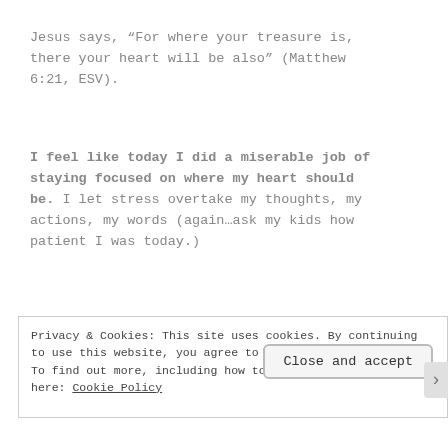Jesus says, “For where your treasure is, there your heart will be also” (Matthew 6:21, ESV).
I feel like today I did a miserable job of staying focused on where my heart should be. I let stress overtake my thoughts, my actions, my words (again…ask my kids how patient I was today.)
Privacy & Cookies: This site uses cookies. By continuing to use this website, you agree to their use.
To find out more, including how to control cookies, see here: Cookie Policy
Close and accept